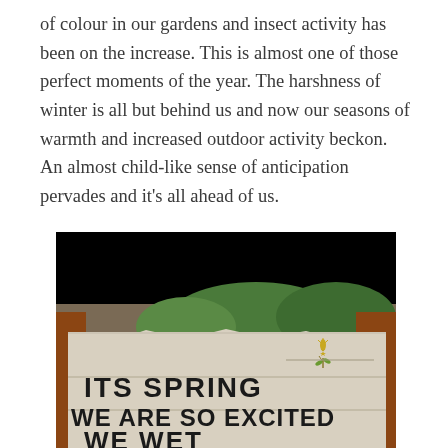of colour in our gardens and insect activity has been on the increase. This is almost one of those perfect moments of the year. The harshness of winter is all but behind us and now our seasons of warmth and increased outdoor activity beckon. An almost child-like sense of anticipation pervades and it's all ahead of us.
[Figure (photo): A photograph of a rustic stone or concrete sign reading 'ITS SPRING WE ARE SO EXCITED WE WET' with a small flower/plant illustration in the upper right corner. The top portion of the image has a black bar. Green trees and reddish-brown wooden structures are visible in the background.]